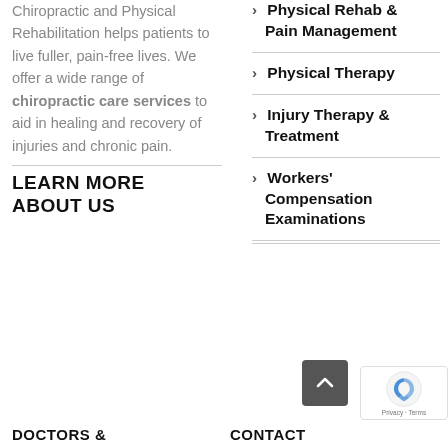Chiropractic and Physical Rehabilitation helps patients to live fuller, pain-free lives. We offer a wide range of chiropractic care services to aid in healing and recovery of injuries and chronic pain.
> Physical Rehab & Pain Management
> Physical Therapy
> Injury Therapy & Treatment
> Workers' Compensation Examinations
LEARN MORE ABOUT US
DOCTORS &
CONTACT